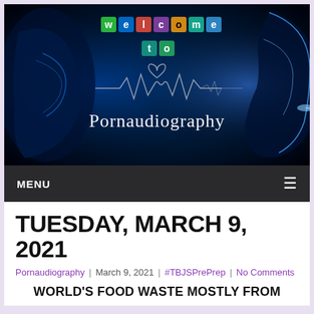[Figure (illustration): Website banner for 'Pornaudiography' blog. Dark blue/black background with two glowing blue silhouette profiles (ear on left, face on right). Center text reads 'welcome to' in colorful tiled letters and 'Pornaudiography' in white serif font. A heartbeat/EKG line with a heart shape runs across the center.]
MENU ≡
TUESDAY, MARCH 9, 2021
Pornaudiography | March 9, 2021 | #TBJSPrePrep | No Comments
WORLD'S FOOD WASTE MOSTLY FROM